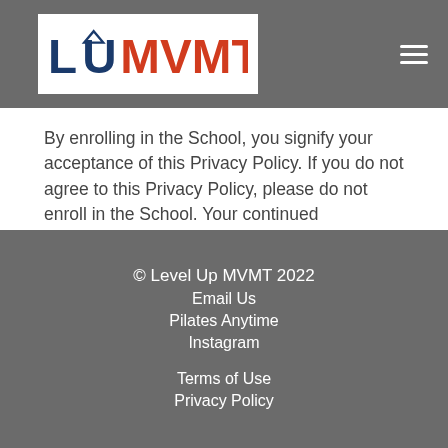LUMVMT
By enrolling in the School, you signify your acceptance of this Privacy Policy. If you do not agree to this Privacy Policy, please do not enroll in the School. Your continued enrollment in the School following the posting of changes to this Privacy Policy will be deemed your acceptance of those changes.
© Level Up MVMT 2022
Email Us
Pilates Anytime
Instagram

Terms of Use
Privacy Policy